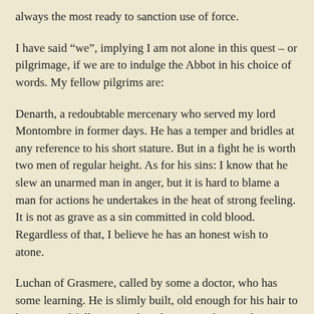always the most ready to sanction use of force.
I have said “we”, implying I am not alone in this quest – or pilgrimage, if we are to indulge the Abbot in his choice of words. My fellow pilgrims are:
Denarth, a redoubtable mercenary who served my lord Montombre in former days. He has a temper and bridles at any reference to his short stature. But in a fight he is worth two men of regular height. As for his sins: I know that he slew an unarmed man in anger, but it is hard to blame a man for actions he undertakes in the heat of strong feeling. It is not as grave as a sin committed in cold blood. Regardless of that, I believe he has an honest wish to atone.
Luchan of Grasmere, called by some a doctor, who has some learning. He is slimly built, old enough for his hair to have turned full grey. And yet he owns a fine warhorse called Gabriel, and shows the proper devotion to it that one would expect of a warrior. I am not familiar with the hamlet of Grasmere, but from his bearing I take Luchan to be of good freeman stock. He keeps silent as to the sins that put him in